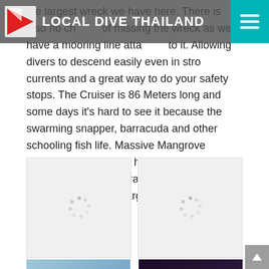LOCAL DIVE THAILAND
the largest wreck we have here. There is also no chance of missing the wreck as we have a mooring line attached to it. Allowing divers to descend easily even in strong currents and a great way to do your safety stops. The Cruiser is 86 Meters long and some days it's hard to see it because the swarming snapper, barracuda and other schooling fish life. Massive Mangrove Snapper and Grouper hide out in the wreckage and nudidbranch's like Doriprismatica atromarginata cover the wreck.
[Figure (photo): Loading placeholder image (gray background with spinner dots) - top left]
[Figure (photo): Loading placeholder image (gray background with spinner dots) - top right]
[Figure (photo): Underwater photo showing fish school in blue water - bottom left]
[Figure (photo): Dark underwater photo showing marine life (possibly nudibranch) - bottom right]